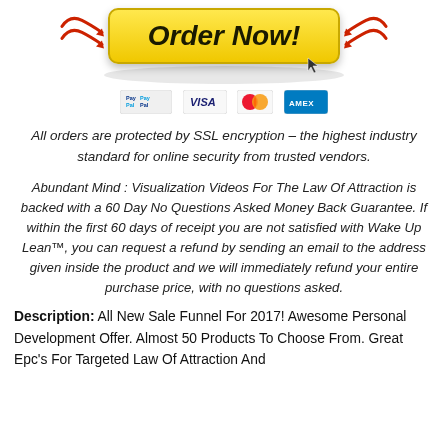[Figure (other): Yellow 'Order Now!' button with red arrows on sides, oval shadow beneath, and cursor icon]
[Figure (other): Payment method icons: PayPal, VISA, Mastercard, American Express]
All orders are protected by SSL encryption – the highest industry standard for online security from trusted vendors.
Abundant Mind : Visualization Videos For The Law Of Attraction is backed with a 60 Day No Questions Asked Money Back Guarantee. If within the first 60 days of receipt you are not satisfied with Wake Up Lean™, you can request a refund by sending an email to the address given inside the product and we will immediately refund your entire purchase price, with no questions asked.
Description: All New Sale Funnel For 2017! Awesome Personal Development Offer. Almost 50 Products To Choose From. Great Epc's For Targeted Law Of Attraction And